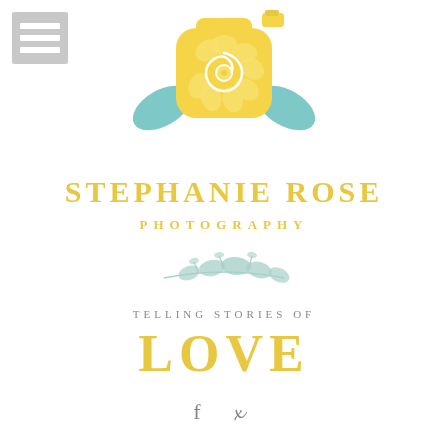[Figure (logo): Hamburger menu icon with three horizontal lines on grey background, top left corner]
[Figure (logo): Yellow camera body shaped like a rose with teal leaves on either side and a white spiral rose illustration in the center, small yellow rectangle at top right representing flash]
STEPHANIE ROSE
PHOTOGRAPHY
[Figure (illustration): Delicate teal/mint watercolor floral sprig divider]
TELLING STORIES OF
LOVE
[Figure (logo): Social media icons: Facebook f and Pinterest p]